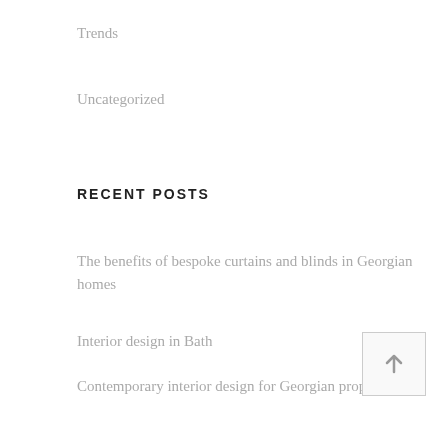Trends
Uncategorized
RECENT POSTS
The benefits of bespoke curtains and blinds in Georgian homes
Interior design in Bath
Contemporary interior design for Georgian properties
Georgian house renovation
Award for Best Luxury Interior Designer in South West